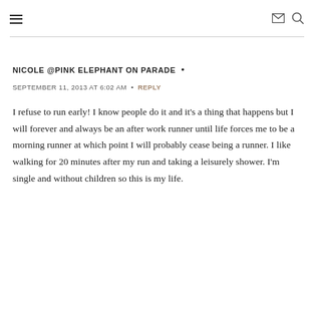≡  ✉ 🔍
NICOLE @PINK ELEPHANT ON PARADE •
SEPTEMBER 11, 2013 AT 6:02 AM • REPLY
I refuse to run early! I know people do it and it's a thing that happens but I will forever and always be an after work runner until life forces me to be a morning runner at which point I will probably cease being a runner. I like walking for 20 minutes after my run and taking a leisurely shower. I'm single and without children so this is my life.